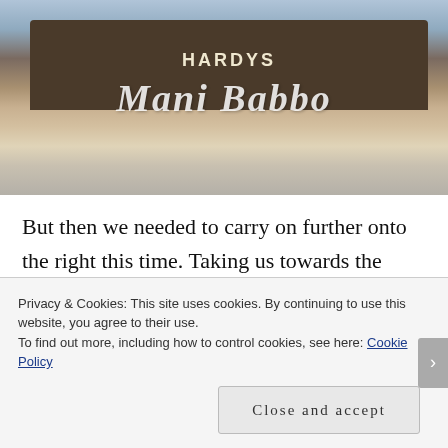[Figure (photo): Street scene showing a busy shopping street with pedestrians crossing a zebra crossing. A shop called 'HARDYS' is visible on the corner. The text 'Mani Babbo' is overlaid in large white italic text across the photo.]
But then we needed to carry on further onto the right this time. Taking us towards the King's Parade. The path in itself attracts you to few little alleys and small entrances into the big universities. Of course you get to pay a price for...
Privacy & Cookies: This site uses cookies. By continuing to use this website, you agree to their use.
To find out more, including how to control cookies, see here: Cookie Policy
Close and accept